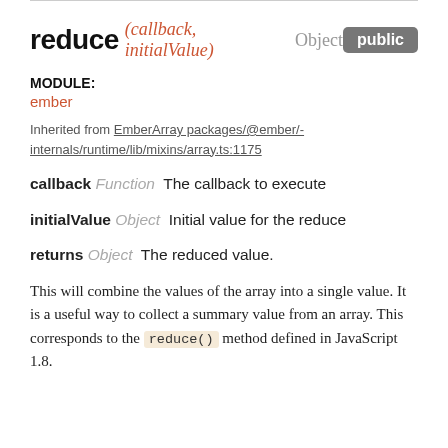reduce (callback, initialValue) Object public
MODULE:
ember
Inherited from EmberArray packages/@ember/-internals/runtime/lib/mixins/array.ts:1175
callback Function  The callback to execute
initialValue Object  Initial value for the reduce
returns Object  The reduced value.
This will combine the values of the array into a single value. It is a useful way to collect a summary value from an array. This corresponds to the reduce() method defined in JavaScript 1.8.